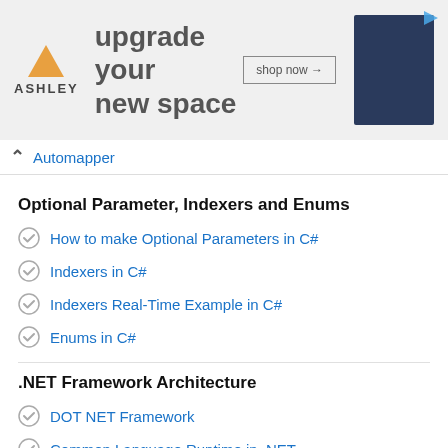[Figure (photo): Ashley Furniture advertisement banner showing 'upgrade your new space' text with a sofa image and shop now button]
Automapper
Optional Parameter, Indexers and Enums
How to make Optional Parameters in C#
Indexers in C#
Indexers Real-Time Example in C#
Enums in C#
.NET Framework Architecture
DOT NET Framework
Common Language Runtime in .NET
.NET Program Execution Process
Intermediate Language (ILDASM & ILASM) Code in C#
Common Type System in .NET Framework
Common Language Specification in .NET Framework
Managed and Unmanaged Code in .NET
Assembly DLL EXE in .NET Framework